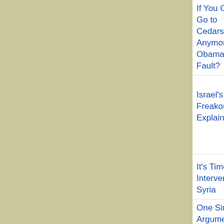| Title | Author | Date | Topic |
| --- | --- | --- | --- |
| If You Can't Go to Cedars-Sinai Anymore, Is It Obamacare's Fault? | Jonathan Cohn | January 6, 2014 | Patient Protection and Affordable Care A... |
| Israel's Freakout, Explained | Yossi Klein Halevi | November 26, 2013 | Gene... interim agree... on Ira... nucle... progr... |
| It's Time to Intervene in Syria | John Judis | April 30, 2013 | Syrian war |
| One Simple Argument Could Have Saved Obamacare, | Jeffrey Rosen | March 30, 2012 | Patient Prote... and Affor... |